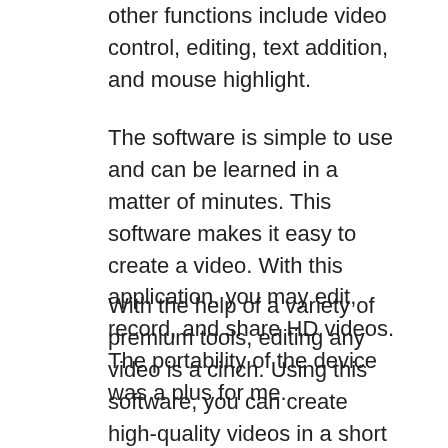other functions include video control, editing, text addition, and mouse highlight.
The software is simple to use and can be learned in a matter of minutes. This software makes it easy to create a video. With this application, you may edit, record, and share HD videos. The portability of the device was a plus for me.
With the help of a variety of premium tools, editing any video is a cinch. Using this software, you can create high-quality videos in a short period of time. You should use Camtasia Studio if you need to create instructional materials like tutorials or instructional notes. The 30-day free trial offered by TechSmith is available to all of its customers.
By pressing the preserving switch, you may ensure